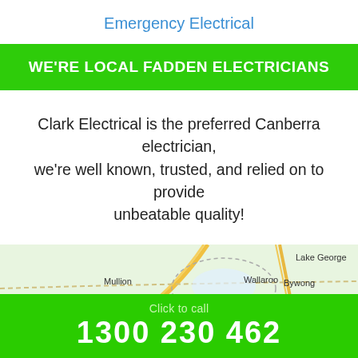Emergency Electrical
WE'RE LOCAL FADDEN ELECTRICIANS
Clark Electrical is the preferred Canberra electrician, we're well known, trusted, and relied on to provide unbeatable quality!
[Figure (map): Google Maps screenshot showing Canberra region with labels: Mullion, Wallaroo, Lake George, Bywong, Gungahlin]
Click to call
1300 230 462